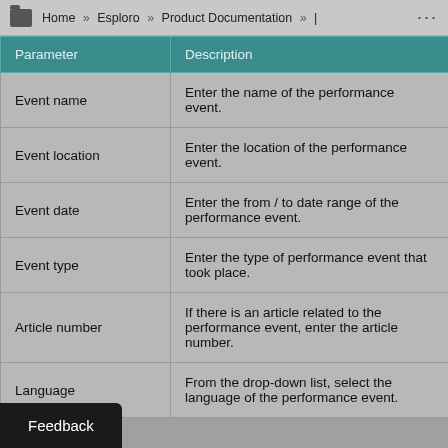Home » Esploro » Product Documentation » |
| Parameter | Description |
| --- | --- |
| Event name | Enter the name of the performance event. |
| Event location | Enter the location of the performance event. |
| Event date | Enter the from / to date range of the performance event. |
| Event type | Enter the type of performance event that took place. |
| Article number | If there is an article related to the performance event, enter the article number. |
| Language | From the drop-down list, select the language of the performance event. |